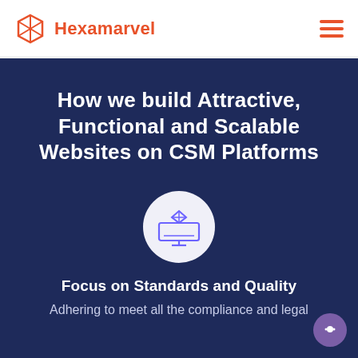Hexamarvel
How we build Attractive, Functional and Scalable Websites on CSM Platforms
[Figure (illustration): Circle icon with a desktop monitor and diamond gem graphic, purple outline style on light background]
Focus on Standards and Quality
Adhering to meet all the compliance and legal